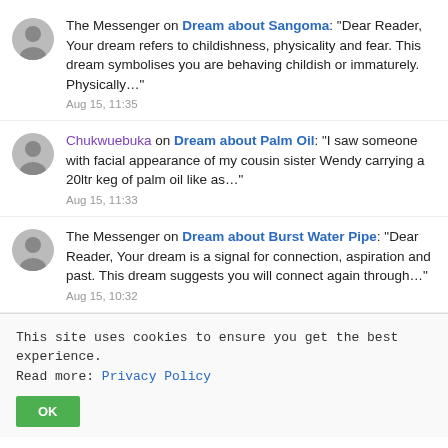The Messenger on Dream about Sangoma: "Dear Reader, Your dream refers to childishness, physicality and fear. This dream symbolises you are behaving childish or immaturely. Physically…"
Aug 15, 11:35
Chukwuebuka on Dream about Palm Oil: "I saw someone with facial appearance of my cousin sister Wendy carrying a 20ltr keg of palm oil like as…"
Aug 15, 11:33
The Messenger on Dream about Burst Water Pipe: "Dear Reader, Your dream is a signal for connection, aspiration and past. This dream suggests you will connect again through…"
Aug 15, 10:32
This site uses cookies to ensure you get the best experience. Read more: Privacy Policy
OK